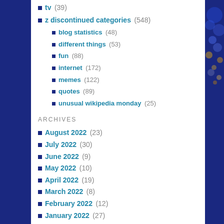tv (39)
z discontinued categories (548)
blog statistics (48)
different things (53)
fun (88)
internet (172)
memes (122)
quotes (89)
unusual wikipedia monday (25)
ARCHIVES
August 2022 (23)
July 2022 (30)
June 2022 (9)
May 2022 (10)
April 2022 (19)
March 2022 (8)
February 2022 (12)
January 2022 (27)
December 2021 (31)
November 2021 (30)